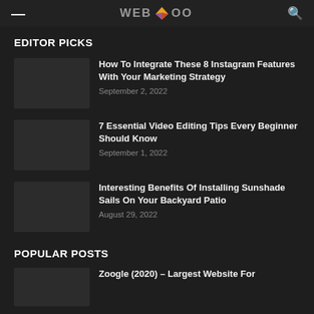WEBLOOO
EDITOR PICKS
How To Integrate These 8 Instagram Features With Your Marketing Strategy
September 2, 2022
7 Essential Video Editing Tips Every Beginner Should Know
September 1, 2022
Interesting Benefits Of Installing Sunshade Sails On Your Backyard Patio
August 29, 2022
POPULAR POSTS
Zoogle (2020) – Largest Website For